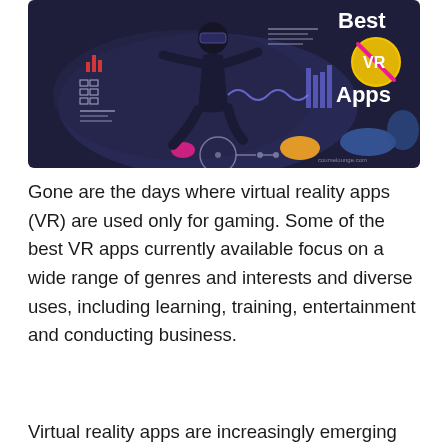[Figure (illustration): Illustration of a person in dark clothing interacting with virtual reality data interfaces, charts, and UI elements floating in a dark blue/purple background. Text on the right reads 'Best VR Apps' with a pink/magenta VR logo circle. Watermark reads 'courselounge.com'.]
Gone are the days where virtual reality apps (VR) are used only for gaming. Some of the best VR apps currently available focus on a wide range of genres and interests and diverse uses, including learning, training, entertainment and conducting business.
Virtual reality apps are increasingly emerging